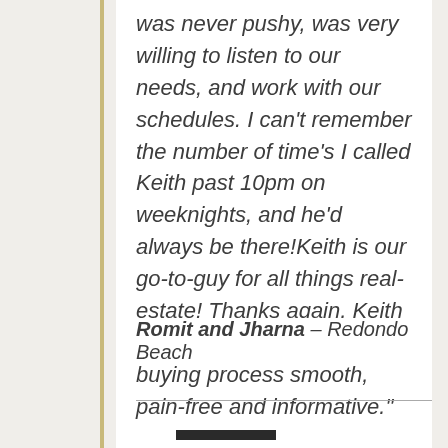was never pushy, was very willing to listen to our needs, and work with our schedules. I can't remember the number of time's I called Keith past 10pm on weeknights, and he'd always be there!Keith is our go-to-guy for all things real-estate! Thanks again, Keith for really making our home buying process smooth, pain-free and informative."
Romit and Jharna – Redondo Beach